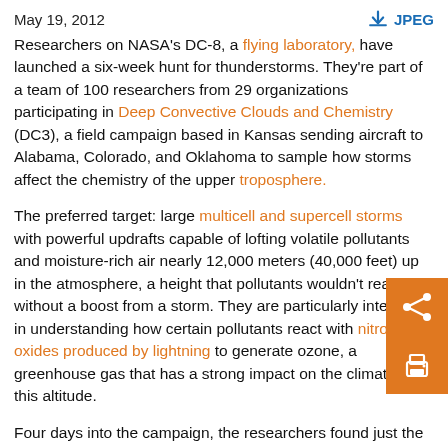May 19, 2012   JPEG
Researchers on NASA's DC-8, a flying laboratory, have launched a six-week hunt for thunderstorms. They're part of a team of 100 researchers from 29 organizations participating in Deep Convective Clouds and Chemistry (DC3), a field campaign based in Kansas sending aircraft to Alabama, Colorado, and Oklahoma to sample how storms affect the chemistry of the upper troposphere.
The preferred target: large multicell and supercell storms with powerful updrafts capable of lofting volatile pollutants and moisture-rich air nearly 12,000 meters (40,000 feet) up in the atmosphere, a height that pollutants wouldn't reach without a boost from a storm. They are particularly interested in understanding how certain pollutants react with nitrogen oxides produced by lightning to generate ozone, a greenhouse gas that has a strong impact on the climate at this altitude.
Four days into the campaign, the researchers found just the sort of storm they were looking for developing southwest of Cheyenne and central Oklahoma. According to a summary of the flight posted on the campaign's website, the storm cell formed rapidly around 5:00 p.m. and by 5:45 p.m. the DC-8 and the National Center for Atmospheric Research and National Science Foundation's Gulfstream V had...